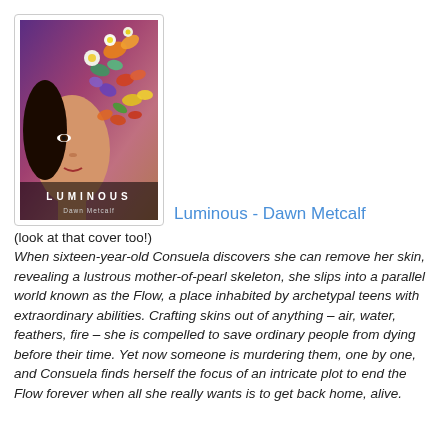[Figure (illustration): Book cover for 'Luminous' by Dawn Metcalf showing a young woman's face with colorful butterflies and flowers emerging from the right side of her head, against a purple-pink gradient background. Title 'LUMINOUS' in white spaced letters at bottom, author name 'Dawn Metcalf' below.]
Luminous - Dawn Metcalf
(look at that cover too!)
When sixteen-year-old Consuela discovers she can remove her skin, revealing a lustrous mother-of-pearl skeleton, she slips into a parallel world known as the Flow, a place inhabited by archetypal teens with extraordinary abilities. Crafting skins out of anything – air, water, feathers, fire – she is compelled to save ordinary people from dying before their time. Yet now someone is murdering them, one by one, and Consuela finds herself the focus of an intricate plot to end the Flow forever when all she really wants is to get back home, alive.